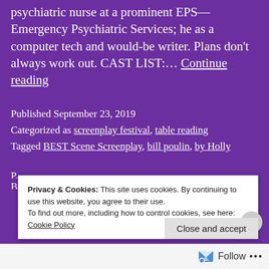psychiatric nurse at a prominent EPS—Emergency Psychiatric Services; he as a computer tech and would-be writer. Plans don't always work out. CAST LIST:… Continue reading
Published September 23, 2019
Categorized as screenplay festival, table reading
Tagged BEST Scene Screenplay, bill poulin, by Holly S...
Privacy & Cookies: This site uses cookies. By continuing to use this website, you agree to their use. To find out more, including how to control cookies, see here: Cookie Policy
Close and accept
Follow